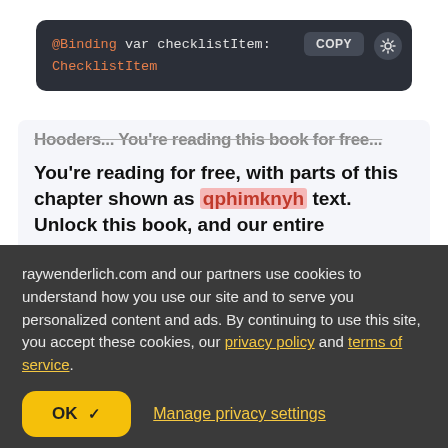[Figure (screenshot): Dark-themed code block showing: @Binding var checklistItem: ChecklistItem, with COPY button and sun/brightness icon on the right]
You're reading for free, with parts of this chapter shown as qphimknyh text. Unlock this book, and our entire
raywenderlich.com and our partners use cookies to understand how you use our site and to serve you personalized content and ads. By continuing to use this site, you accept these cookies, our privacy policy and terms of service.
OK ✓   Manage privacy settings